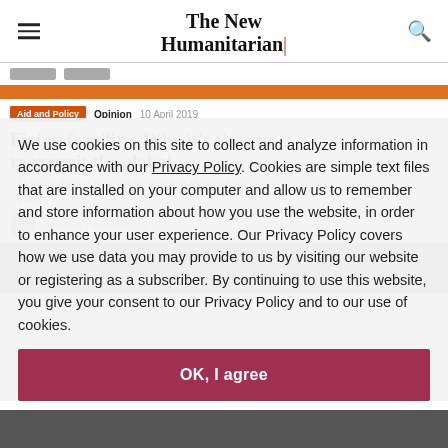The New Humanitarian
Aid and Policy   Opinion   10 April 2019
Fixing fragility: Why it's time to recommit the global…
How resilience must reshape aid in the hardest places
Jonathan Papoulidis
We use cookies on this site to collect and analyze information in accordance with our Privacy Policy. Cookies are simple text files that are installed on your computer and allow us to remember and store information about how you use the website, in order to enhance your user experience. Our Privacy Policy covers how we use data you may provide to us by visiting our website or registering as a subscriber. By continuing to use this website, you give your consent to our Privacy Policy and to our use of cookies.
OK, I agree